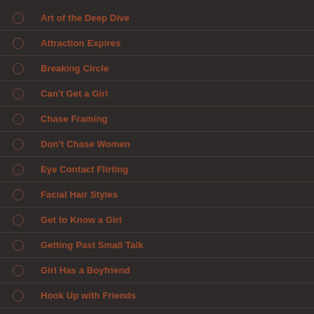Art of the Deep Dive
Attraction Expires
Breaking Circle
Can't Get a Girl
Chase Framing
Don't Chase Women
Eye Contact Flirting
Facial Hair Styles
Get to Know a Girl
Getting Past Small Talk
Girl Has a Boyfriend
Hook Up with Friends